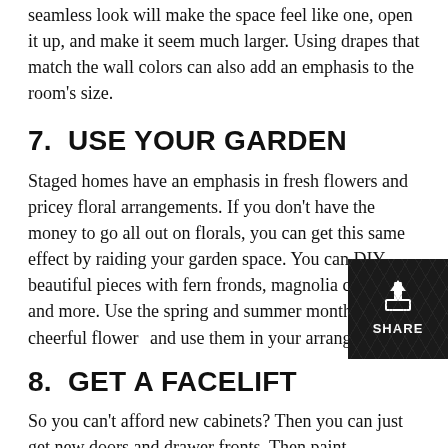seamless look will make the space feel like one, open it up, and make it seem much larger. Using drapes that match the wall colors can also add an emphasis to the room's size.
7.  USE YOUR GARDEN
Staged homes have an emphasis in fresh flowers and pricey floral arrangements. If you don't have the money to go all out on florals, you can get this same effect by raiding your garden space. You can DIY beautiful pieces with fern fronds, magnolia clippings, and more. Use the spring and summer months to find cheerful flowers and use them in your arrangements.
8.  GET A FACELIFT
So you can't afford new cabinets? Then you can just get new doors and drawer fronts. Then paint everything to match and add new hardware to give the space a fresh look.